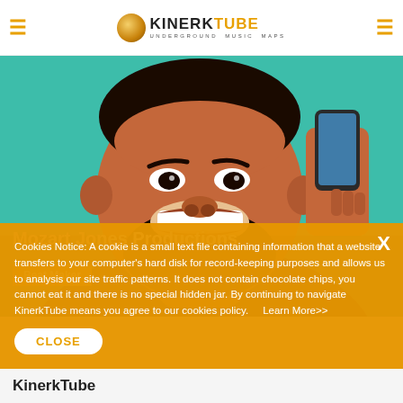KinerkTube - Underground Music Maps
[Figure (illustration): Cartoon/illustrated close-up of a Black man with a beard and wide smile, holding a phone to his ear, on a teal/green background. Overlaid text: 'Mozart Jones Productions' and a badge reading 'Beat Maker'.]
Cookies Notice: A cookie is a small text file containing information that a website transfers to your computer's hard disk for record-keeping purposes and allows us to analysis our site traffic patterns. It does not contain chocolate chips, you cannot eat it and there is no special hidden jar. By continuing to navigate KinerkTube means you agree to our cookies policy.    Learn More>>
KinerkTube